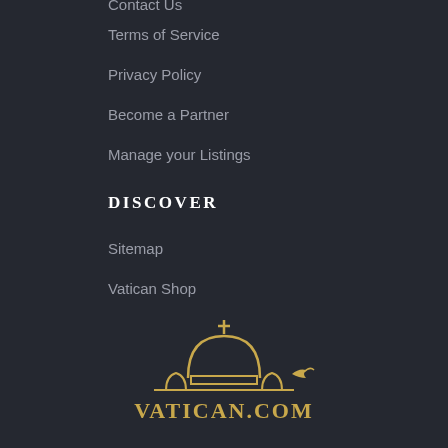Contact Us
Terms of Service
Privacy Policy
Become a Partner
Manage your Listings
DISCOVER
Sitemap
Vatican Shop
[Figure (logo): Vatican.com logo with dome silhouette and dove, gold color on dark background]